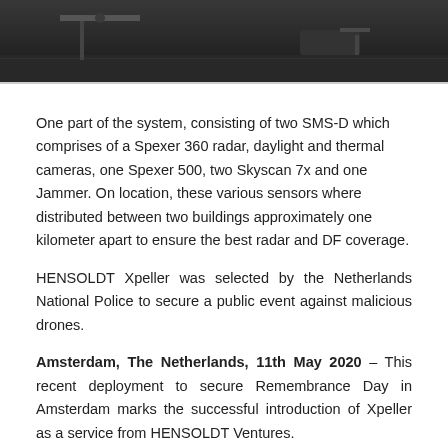[Figure (photo): Dark photograph showing drone/equipment hardware against a dark background, partially cropped at top of page]
One part of the system, consisting of two SMS-D which comprises of a Spexer 360 radar, daylight and thermal cameras, one Spexer 500, two Skyscan 7x and one Jammer. On location, these various sensors where distributed between two buildings approximately one kilometer apart to ensure the best radar and DF coverage.
HENSOLDT Xpeller was selected by the Netherlands National Police to secure a public event against malicious drones.
Amsterdam, The Netherlands, 11th May 2020 – This recent deployment to secure Remembrance Day in Amsterdam marks the successful introduction of Xpeller as a service from HENSOLDT Ventures.